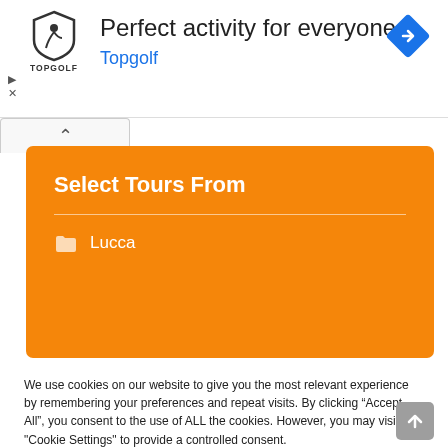[Figure (screenshot): Topgolf advertisement banner with logo, text 'Perfect activity for everyone' and 'Topgolf', and a blue navigation diamond icon]
[Figure (screenshot): Orange panel with 'Select Tours From' heading, horizontal divider, and folder icon with 'Lucca' label]
We use cookies on our website to give you the most relevant experience by remembering your preferences and repeat visits. By clicking “Accept All”, you consent to the use of ALL the cookies. However, you may visit "Cookie Settings" to provide a controlled consent.
Cookie Settings   Accept All